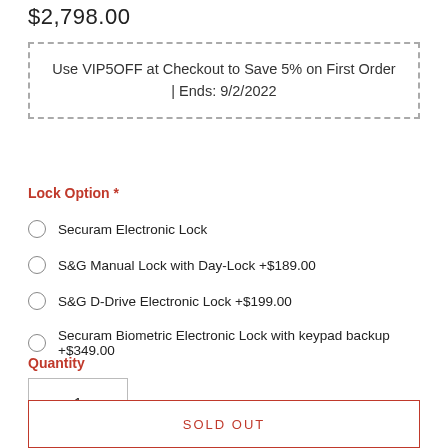$2,798.00
Use VIP5OFF at Checkout to Save 5% on First Order | Ends: 9/2/2022
Lock Option *
Securam Electronic Lock
S&G Manual Lock with Day-Lock +$189.00
S&G D-Drive Electronic Lock +$199.00
Securam Biometric Electronic Lock with keypad backup +$349.00
Quantity
1
SOLD OUT